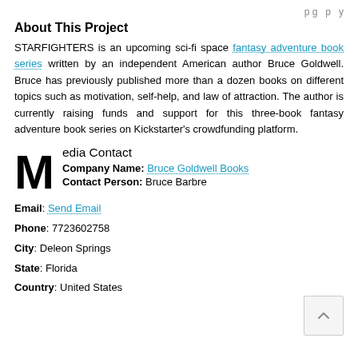p g p y
About This Project
STARFIGHTERS is an upcoming sci-fi space fantasy adventure book series written by an independent American author Bruce Goldwell. Bruce has previously published more than a dozen books on different topics such as motivation, self-help, and law of attraction. The author is currently raising funds and support for this three-book fantasy adventure book series on Kickstarter's crowdfunding platform.
Media Contact
Company Name: Bruce Goldwell Books
Contact Person: Bruce Barbre
Email: Send Email
Phone: 7723602758
City: Deleon Springs
State: Florida
Country: United States